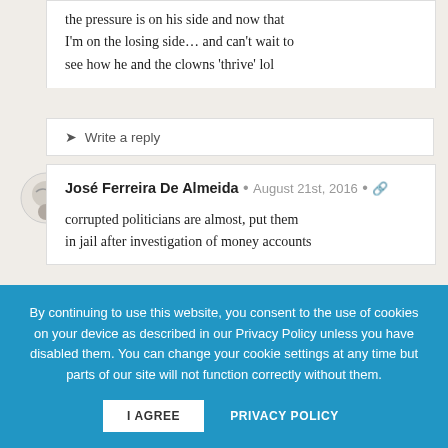the pressure is on his side and now that I'm on the losing side… and can't wait to see how he and the clowns 'thrive' lol
Write a reply
José Ferreira De Almeida · August 21st, 2016 · 🔗
corrupted politicians are almost, put them in jail after investigation of money accounts
By continuing to use this website, you consent to the use of cookies on your device as described in our Privacy Policy unless you have disabled them. You can change your cookie settings at any time but parts of our site will not function correctly without them.
I AGREE
PRIVACY POLICY